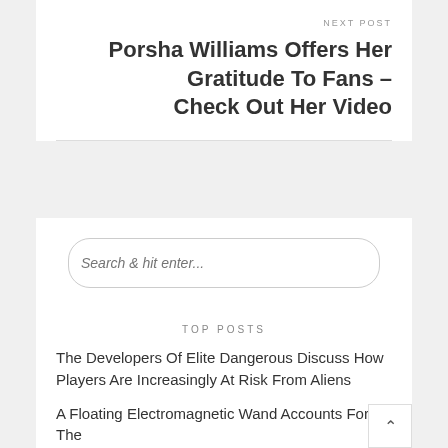NEXT POST
Porsha Williams Offers Her Gratitude To Fans – Check Out Her Video
[Figure (other): Search box with placeholder text 'Search & hit enter...']
TOP POSTS
The Developers Of Elite Dangerous Discuss How Players Are Increasingly At Risk From Aliens
A Floating Electromagnetic Wand Accounts For The